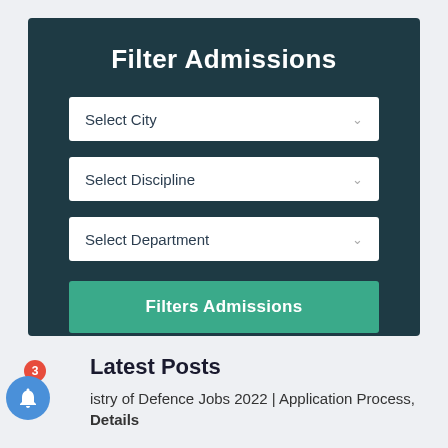Filter Admissions
Select City
Select Discipline
Select Department
Filters Admissions
Latest Posts
istry of Defence Jobs 2022 | Application Process, Details